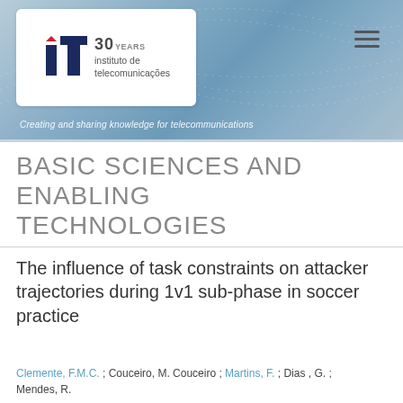[Figure (logo): Instituto de Telecomunicações logo with '30 YEARS' text, red and dark blue 'it' letters, on a blue gradient banner background. Tagline reads 'Creating and sharing knowledge for telecommunications'. Hamburger menu icon top right.]
BASIC SCIENCES AND ENABLING TECHNOLOGIES
The influence of task constraints on attacker trajectories during 1v1 sub-phase in soccer practice
Clemente, F.M.C. ; Couceiro, M. Couceiro ; Martins, F. ; Dias , G. ; Mendes, R.